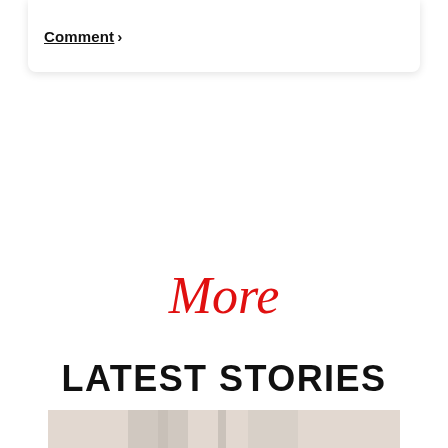Comment >
More
LATEST STORIES
[Figure (photo): A light-colored photo strip at the bottom of the page, showing a partial scene with beige/neutral tones]